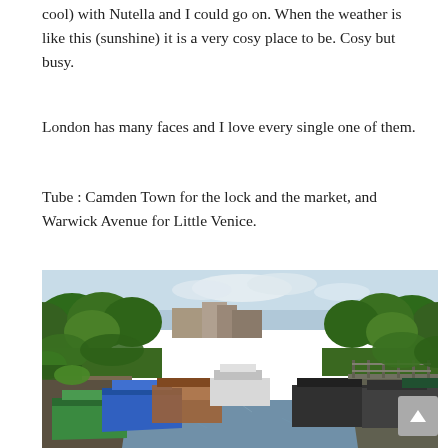cool) with Nutella and I could go on. When the weather is like this (sunshine) it is a very cosy place to be. Cosy but busy.
London has many faces and I love every single one of them.
Tube : Camden Town for the lock and the market, and Warwick Avenue for Little Venice.
[Figure (photo): A canal in Little Venice, London, showing narrowboats moored on both sides of a tree-lined waterway. Several colourful narrowboats including green and blue ones are visible in the foreground, with a white boat in the middle distance. Green trees overhang from both sides.]